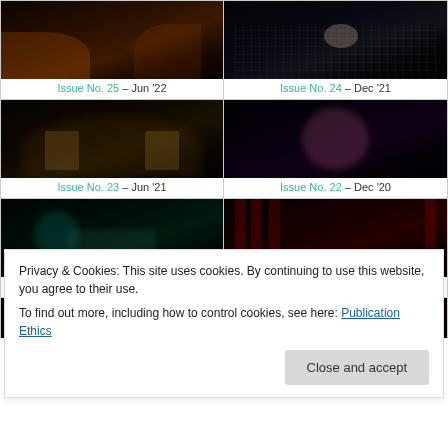[Figure (photo): Issue No. 25 thumbnail - dark theater interior with orange/fire lighting]
Issue No. 25 – Jun '22
[Figure (photo): Issue No. 24 thumbnail - dark stage with grid pattern floor and figures in distance]
Issue No. 24 – Dec '21
[Figure (photo): Issue No. 23 thumbnail - silhouetted figures in smoky atmosphere with warm lighting]
Issue No. 23 – Jun '21
[Figure (photo): Issue No. 22 thumbnail - dancer in colorful dress against black background]
Issue No. 22 – Dec '20
[Figure (photo): Issue No. 21 thumbnail - performers on stage with circular prop in teal/green lighting]
Issue No. 21 – Jun '20
[Figure (photo): Issue No. 20 thumbnail - performers on stage with red curtain backdrop]
Issue No. 20 – Dec '19
Privacy & Cookies: This site uses cookies. By continuing to use this website, you agree to their use.
To find out more, including how to control cookies, see here: Publication Ethics
[Figure (photo): Partial bottom thumbnail left - dark stage with smoky atmosphere]
[Figure (photo): Partial bottom thumbnail right - dark stage performance]